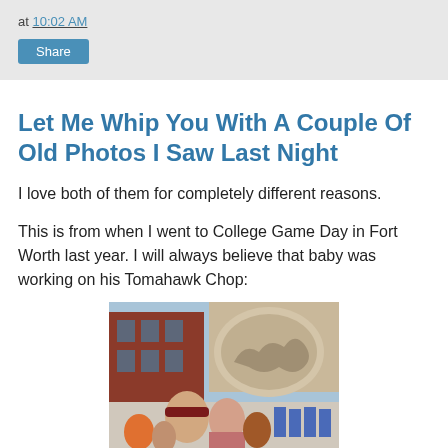at 10:02 AM
Share
Let Me Whip You With A Couple Of Old Photos I Saw Last Night
I love both of them for completely different reasons.
This is from when I went to College Game Day in Fort Worth last year. I will always believe that baby was working on his Tomahawk Chop:
[Figure (photo): Outdoor crowd photo at College Game Day in Fort Worth, showing people in front of a brick building with a mural/sculpture of horses and cattle. A man in a maroon cap and a woman are visible in the foreground, with cheerleaders in the background.]